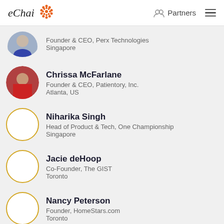eChai | Partners
Founder & CEO, Perx Technologies
Singapore
Chrissa McFarlane
Founder & CEO, Patientory, Inc.
Atlanta, US
Niharika Singh
Head of Product & Tech, One Championship
Singapore
Jacie deHoop
Co-Founder, The GIST
Toronto
Nancy Peterson
Founder, HomeStars.com
Toronto
Norbert Herrmann
Startup Affairs. Senate Department for Economics, Energy and Public Enterprises.
Berlin